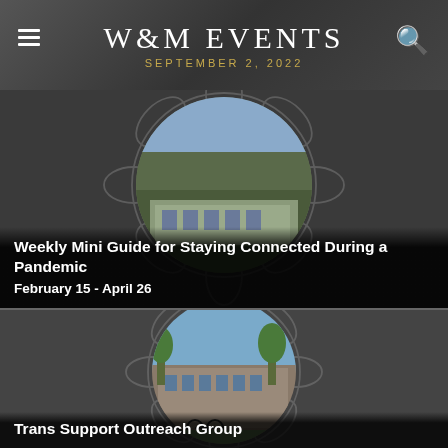W&M EVENTS
SEPTEMBER 2, 2022
[Figure (photo): Aerial or wide-angle photo of a campus building with green lawns, displayed inside a circular frame with decorative grey floral/medallion pattern on a dark background.]
Weekly Mini Guide for Staying Connected During a Pandemic
February 15 - April 26
[Figure (photo): Photo of a modern campus building with trees and a bicycle in the foreground, displayed inside a circular frame with decorative grey floral/medallion pattern on a dark background.]
Trans Support Outreach Group